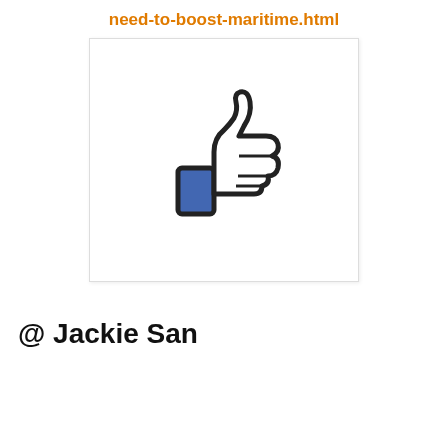need-to-boost-maritime.html
[Figure (illustration): Facebook-style thumbs up 'Like' icon — white hand with blue sleeve/cuff, thick dark outline, on white background inside a light-bordered rectangle]
@ Jackie San